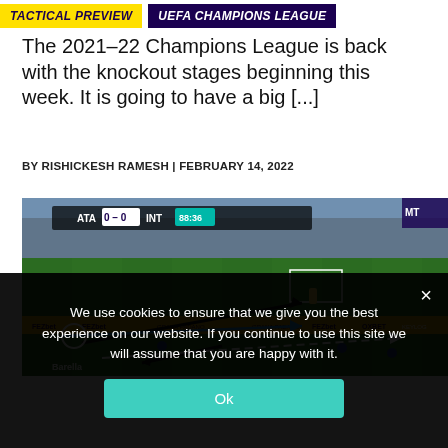TACTICAL PREVIEW | UEFA CHAMPIONS LEAGUE
The 2021–22 Champions League is back with the knockout stages beginning this week. It is going to have a big [...]
BY RISHICKESH RAMESH | FEBRUARY 14, 2022
[Figure (screenshot): Football match tactical analysis screenshot showing ATA 0-0 INT at 88:36, with tactical arrows overlaid on a football pitch. Player label 'Barella' visible.]
We use cookies to ensure that we give you the best experience on our website. If you continue to use this site we will assume that you are happy with it.